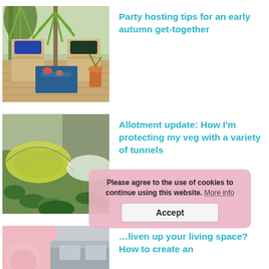[Figure (photo): Garden patio with white wooden chairs, blue cushions, tropical plants, and a blue table with flowers on a wooden deck]
Party hosting tips for an early autumn get-together
[Figure (photo): Allotment garden with yellow and white plastic tunnel cloches covering vegetable crops]
Allotment update: How I'm protecting my veg with a variety of tunnels
[Figure (photo): Partial view of a living space interior, pink and grey tones]
...liven up your living space? How to create an...
Please agree to the use of cookies to continue using this website. More info
Accept